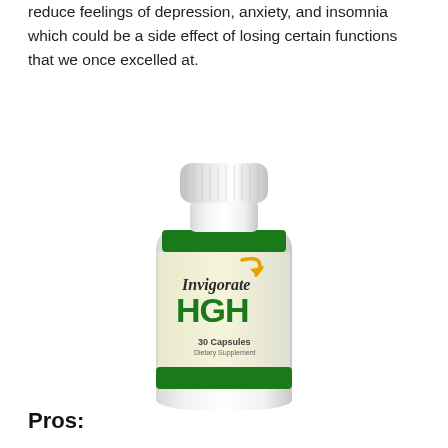reduce feelings of depression, anxiety, and insomnia which could be a side effect of losing certain functions that we once excelled at.
[Figure (photo): Product photo of Invigorate HGH supplement bottle — white plastic bottle with green label bands, cream-colored center label reading 'Invigorate HGH', '30 Capsules', 'Dietary Supplement', with an orange arrow logo.]
Pros: